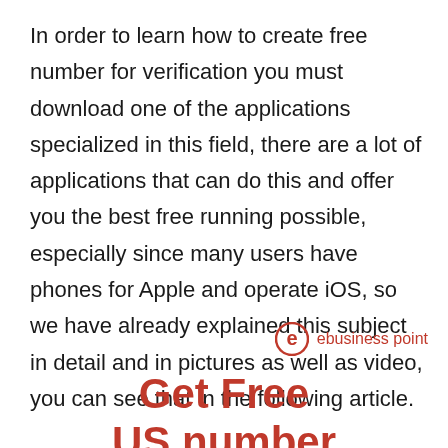In order to learn how to create free number for verification you must download one of the applications specialized in this field, there are a lot of applications that can do this and offer you the best free running possible, especially since many users have phones for Apple and operate iOS, so we have already explained this subject in detail and in pictures as well as video, you can see that in the following article.
[Figure (logo): ebusiness point logo with circular 'e' icon and brand name in red]
Get Free US number for WhatsApp 2022